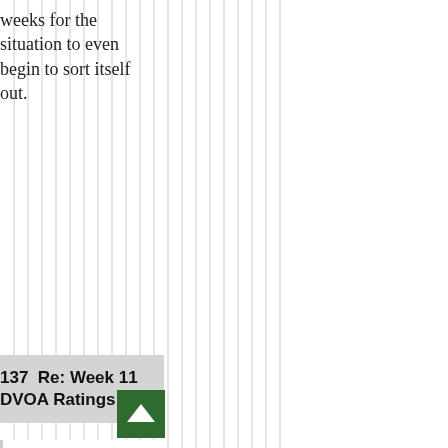weeks for the situation to even begin to sort itself out.
137  Re: Week 11 DVOA Ratings
by Kal // Nov 24, 2010 - 8:19pm
With Kolb/Vick and Delhomme/whoe you do what I mentioned -